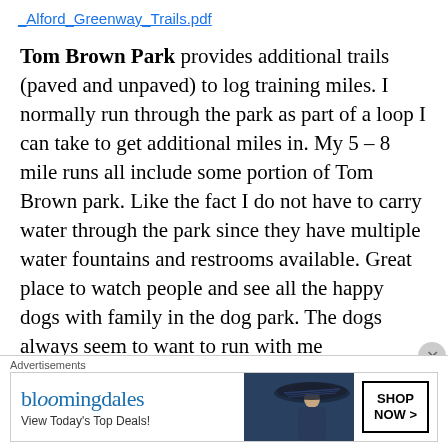_Alford_Greenway_Trails.pdf
Tom Brown Park provides additional trails (paved and unpaved) to log training miles.  I normally run through the park as part of a loop I can take to get additional miles in.  My 5 – 8 mile runs all include some portion of Tom Brown park.  Like the fact I do not have to carry water through the park since they have multiple water fountains and restrooms available.  Great place to watch people and see all the happy dogs with family in the dog park.  The dogs always seem to want to run with me
[Figure (screenshot): Bloomingdales advertisement banner showing logo, 'View Today's Top Deals!' tagline, a woman in a large hat, and a 'SHOP NOW >' button]